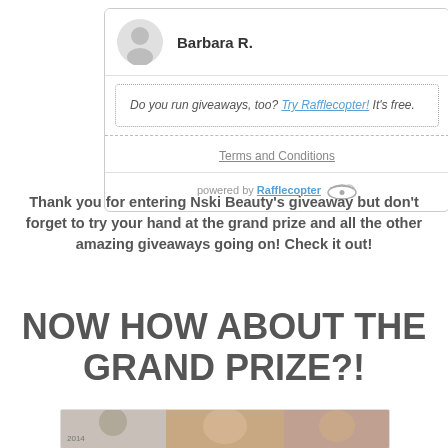[Figure (screenshot): Rafflecopter widget showing winner Barbara R., a promo box with 'Do you run giveaways, too? Try Rafflecopter! It's free.', Terms and Conditions link, and powered by Rafflecopter footer]
Thank you for entering Nski Beauty's giveaway but don't forget to try your hand at the grand prize and all the other amazing giveaways going on! Check it out!
NOW HOW ABOUT THE GRAND PRIZE?!
[Figure (photo): Bottom strip showing partial collage of beauty/prize images with 2014 label visible]